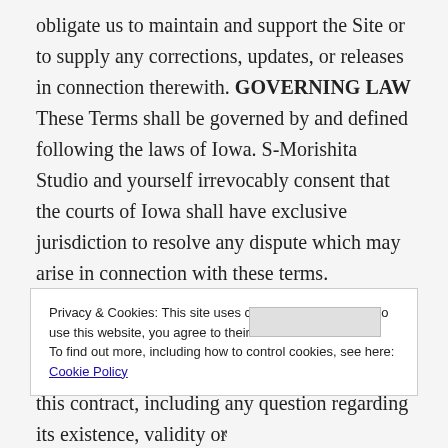obligate us to maintain and support the Site or to supply any corrections, updates, or releases in connection therewith. GOVERNING LAW These Terms shall be governed by and defined following the laws of Iowa. S-Morishita Studio and yourself irrevocably consent that the courts of Iowa shall have exclusive jurisdiction to resolve any dispute which may arise in connection with these terms.
DISPUTE RESOLUTIONBinding Arbitration
Any dispute arising out of or in connection with this contract, including any question regarding its existence, validity or
Privacy & Cookies: This site uses cookies. By continuing to use this website, you agree to their use. To find out more, including how to control cookies, see here: Cookie Policy
x